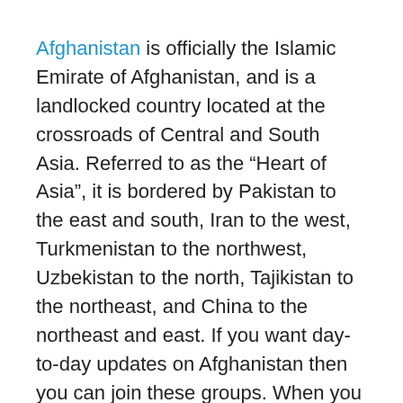Afghanistan is officially the Islamic Emirate of Afghanistan, and is a landlocked country located at the crossroads of Central and South Asia. Referred to as the “Heart of Asia”, it is bordered by Pakistan to the east and south, Iran to the west, Turkmenistan to the northwest, Uzbekistan to the north, Tajikistan to the northeast, and China to the northeast and east. If you want day-to-day updates on Afghanistan then you can join these groups. When you join these groups you also follow the group rules.
This is the only place where you will find Afghanistan WhatsApp Group Links, Afghanistan WhatsApp Group Link, Afghanistan WhatsApp Group Join Link, Afghanistan WhatsApp Group Invite Link, Afghanistan WhatsApp